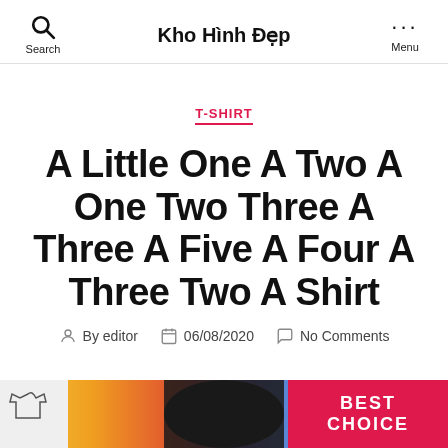Search | Kho Hình Đẹp | Menu
T-SHIRT
A Little One A Two A One Two Three A Three A Five A Four A Three Two A Shirt
By editor  06/08/2020  No Comments
[Figure (photo): Bottom image strip showing a black t-shirt folded, colorful tie-dye background, a shirt thumbnail on the left, and a red BEST CHOICE badge on the right]